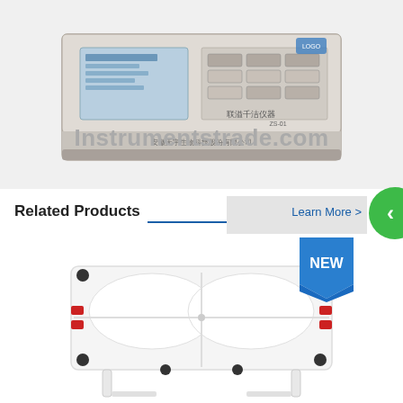[Figure (photo): Gray electronic control unit / instrument box with display screen and buttons, Chinese text on front panel, sitting on a gray base]
Instrumentstrade.com
Related Products
Learn More >
[Figure (photo): White rectangular laboratory tray/sink with four rounded basins, black knobs at corners and sides, red fittings, standing on white legs — NEW product badge shown in blue]